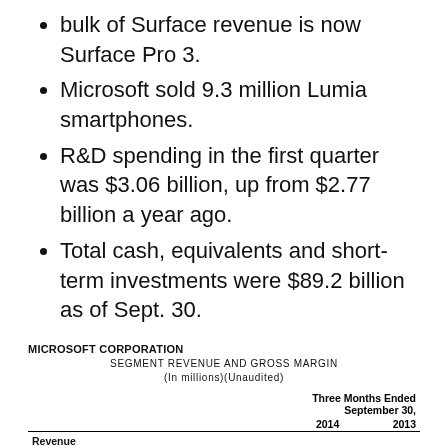bulk of Surface revenue is now Surface Pro 3.
Microsoft sold 9.3 million Lumia smartphones.
R&D spending in the first quarter was $3.06 billion, up from $2.77 billion a year ago.
Total cash, equivalents and short-term investments were $89.2 billion as of Sept. 30.
MICROSOFT CORPORATION
SEGMENT REVENUE AND GROSS MARGIN
(In millions)(Unaudited)
|  |  | Three Months Ended September 30, 2014 | Three Months Ended September 30, 2013 |
| --- | --- | --- | --- |
| Revenue |  |  |  |
| Devices and Consumer Licensing | $ | 4,093 | $ 4,484 |
| Computing and Gaming Hardware |  | 2,453 | 1,409 |
| Phone Hardware |  | 2,609 | 0 |
| Devices and Consumer Other |  | 1,809 | 1,554 |
| Commercial Licensing |  | 9,873 | 9,611 |
| Commercial Other |  | 2,407 | 1,602 |
| Corporate and Other |  | (43) | (131) |